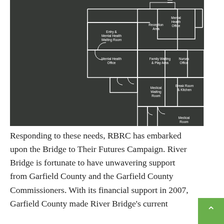[Figure (schematic): Floor plan schematic on dark chalkboard background showing rooms labeled: Entry & Mental Health Waiting Room, Reception Area, Mental Health Office (top right), Mental Health Office (left), Family Waiting & Play Area, Nurses Office, Medical Waiting Room, Break Room & Kitchen, Medical Room]
Responding to these needs, RBRC has embarked upon the Bridge to Their Futures Campaign. River Bridge is fortunate to have unwavering support from Garfield County and the Garfield County Commissioners. With its financial support in 2007, Garfield County made River Bridge's current